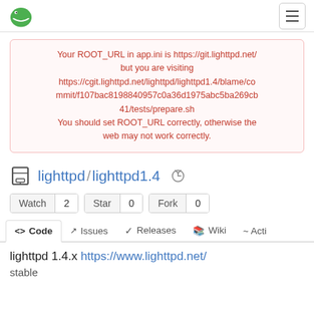Gitea logo and hamburger menu
Your ROOT_URL in app.ini is https://git.lighttpd.net/ but you are visiting https://cgit.lighttpd.net/lighttpd/lighttpd1.4/blame/commit/f107bac8198840957c0a36d1975abc5ba269cb41/tests/prepare.sh You should set ROOT_URL correctly, otherwise the web may not work correctly.
lighttpd / lighttpd1.4
Watch 2  Star 0  Fork 0
<> Code  Issues  Releases  Wiki  Acti
lighttpd 1.4.x https://www.lighttpd.net/
stable